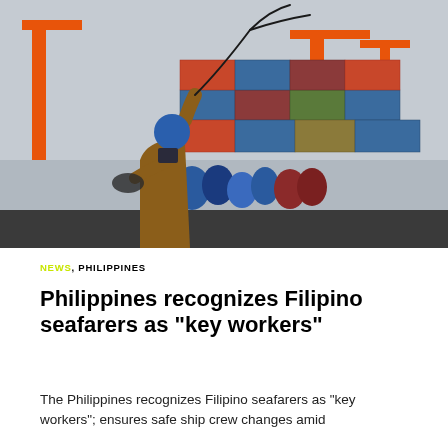[Figure (photo): A worker in an orange/brown coverall and blue hard hat, seen from behind, throwing a rope or cable at a port with stacked shipping containers and orange crane structures in the background.]
NEWS, PHILIPPINES
Philippines recognizes Filipino seafarers as “key workers”
The Philippines recognizes Filipino seafarers as “key workers”; ensures safe ship crew changes amid